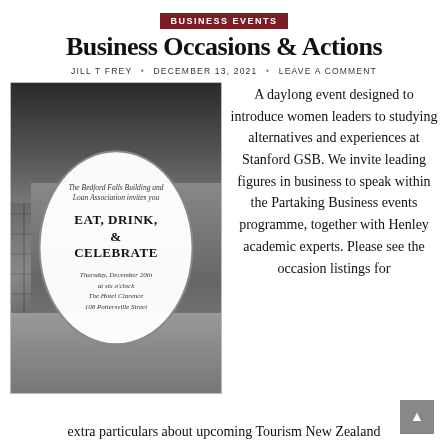BUSINESS EVENTS
Business Occasions & Actions
JILL T FREY • DECEMBER 13, 2021 • LEAVE A COMMENT
[Figure (photo): Black and white photo of a tall city building facade with an oval invitation overlay reading: The Bedford Falls Building and Loan Association invites you. EAT, DRINK, & CELEBRATE. Thursday, December 20th at six o'clock. The Hotel Clarence. 108 Pottersville Street.]
A daylong event designed to introduce women leaders to studying alternatives and experiences at Stanford GSB. We invite leading figures in business to speak within the Partaking Business events programme, together with Henley academic experts. Please see the occasion listings for extra particulars about upcoming Tourism New Zealand